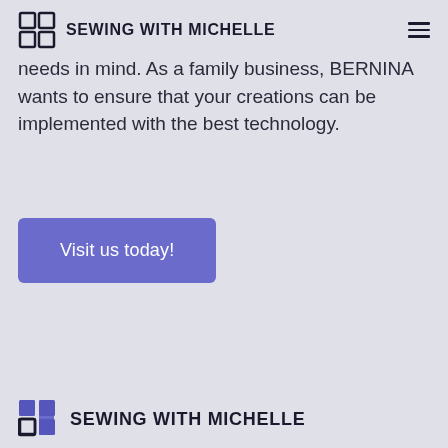SEWING WITH MICHELLE
needs in mind. As a family business, BERNINA wants to ensure that your creations can be implemented with the best technology.
Visit us today!
SEWING WITH MICHELLE